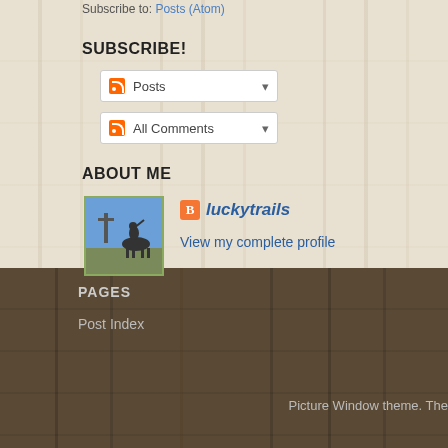Subscribe to: Posts (Atom)
SUBSCRIBE!
Posts
All Comments
ABOUT ME
[Figure (photo): Profile photo showing a statue of a person on horseback against a blue sky]
luckytrails
View my complete profile
PAGES
Post Index
Picture Window theme. The